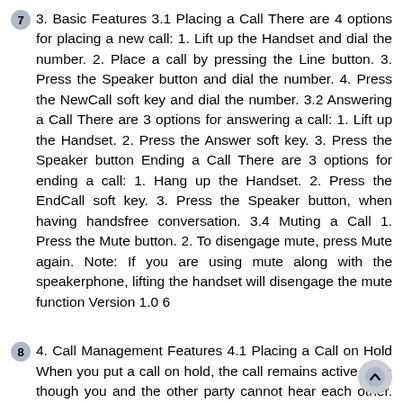7  3. Basic Features 3.1 Placing a Call There are 4 options for placing a new call: 1. Lift up the Handset and dial the number. 2. Place a call by pressing the Line button. 3. Press the Speaker button and dial the number. 4. Press the NewCall soft key and dial the number. 3.2 Answering a Call There are 3 options for answering a call: 1. Lift up the Handset. 2. Press the Answer soft key. 3. Press the Speaker button Ending a Call There are 3 options for ending a call: 1. Hang up the Handset. 2. Press the EndCall soft key. 3. Press the Speaker button, when having handsfree conversation. 3.4 Muting a Call 1. Press the Mute button. 2. To disengage mute, press Mute again. Note: If you are using mute along with the speakerphone, lifting the handset will disengage the mute function Version 1.0 6
8  4. Call Management Features 4.1 Placing a Call on Hold When you put a call on hold, the call remains active even though you and the other party cannot hear each other. You can answer or place another call while a call is being on hold. 1. During a call, press the Hold soft key. 2. To return to the call, press the Resume soft key. 4.2 Using Call Waiting If you are enabled with call waiting for your phone...